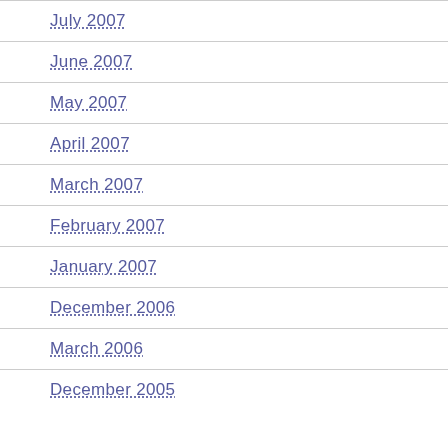July 2007
June 2007
May 2007
April 2007
March 2007
February 2007
January 2007
December 2006
March 2006
December 2005